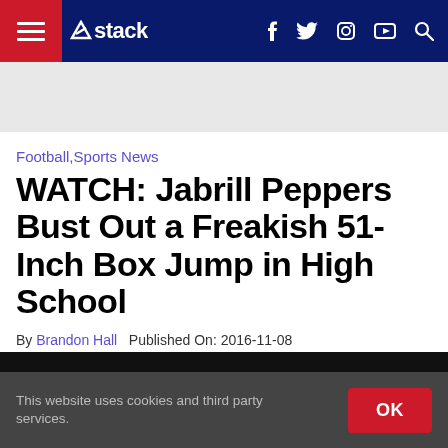Stack — navigation bar with hamburger menu, Stack logo, social icons (f, Twitter, Instagram, YouTube), and search
[Figure (other): Grey advertisement banner area]
Football,Sports News
WATCH: Jabrill Peppers Bust Out a Freakish 51-Inch Box Jump in High School
By Brandon Hall   Published On: 2016-11-08
[Figure (other): Black video player area]
This website uses cookies and third party services.